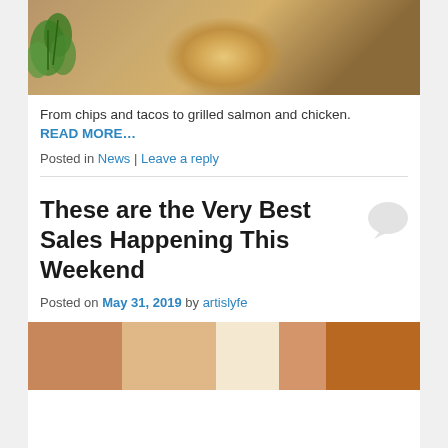[Figure (photo): Top portion of a food photo showing tortilla chips on a plate with cilantro herb garnish on a wooden surface]
From chips and tacos to grilled salmon and chicken.
READ MORE…
Posted in News | Leave a reply
These are the Very Best Sales Happening This Weekend
Posted on May 31, 2019 by artislyfe
[Figure (photo): Bottom portion of a colorful image with orange, tan, cream, and brown geometric color blocks]